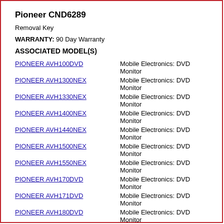Pioneer CND6289
Removal Key
WARRANTY: 90 Day Warranty
ASSOCIATED MODEL(S)
PIONEER AVH100DVD — Mobile Electronics: DVD Monitor
PIONEER AVH1300NEX — Mobile Electronics: DVD Monitor
PIONEER AVH1330NEX — Mobile Electronics: DVD Monitor
PIONEER AVH1400NEX — Mobile Electronics: DVD Monitor
PIONEER AVH1440NEX — Mobile Electronics: DVD Monitor
PIONEER AVH1500NEX — Mobile Electronics: DVD Monitor
PIONEER AVH1550NEX — Mobile Electronics: DVD Monitor
PIONEER AVH170DVD — Mobile Electronics: DVD Monitor
PIONEER AVH171DVD — Mobile Electronics: DVD Monitor
PIONEER AVH180DVD — Mobile Electronics: DVD Monitor
PIONEER AVH190DVD — Mobile Electronics: DVD Monitor
PIONEER AVH200BT — Mobile Electronics: DVD Monitor
PIONEER AVH2300NEX — Mobile Electronics: DVD Monitor
PIONEER AVH2330NEX — Mobile Electronics: DVD Monitor